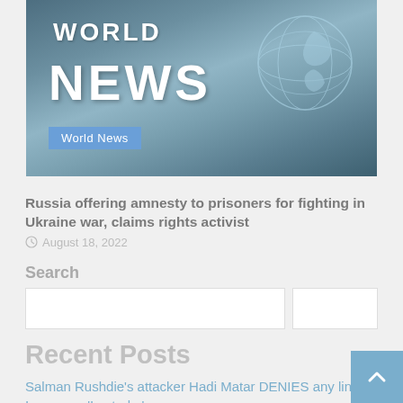[Figure (illustration): World News banner with large text 'WORLD NEWS' overlaid on a globe graphic with teal/blue-grey color scheme, with a 'World News' badge label at the bottom left]
Russia offering amnesty to prisoners for fighting in Ukraine war, claims rights activist
August 18, 2022
Search
Recent Posts
Salman Rushdie's attacker Hadi Matar DENIES any link to Iran, says 'I acted...'
Suraj Pancholi abused Jiah Khan, put her down in